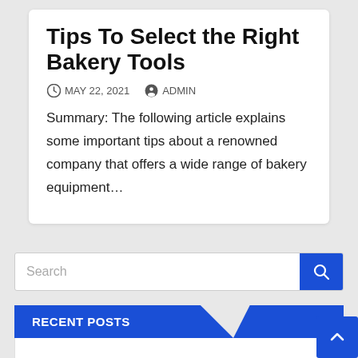Tips To Select the Right Bakery Tools
MAY 22, 2021   ADMIN
Summary: The following article explains some important tips about a renowned company that offers a wide range of bakery equipment...
RECENT POSTS